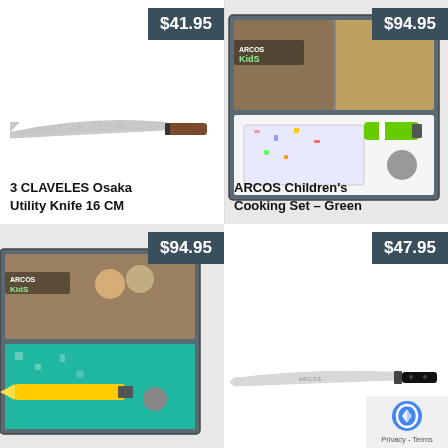[Figure (photo): 3 Claveles Osaka Utility Knife 16 CM with hammered blade and wooden handle, price tag $41.95]
3 CLAVELES Osaka Utility Knife 16 CM
[Figure (photo): ARCOS Children's Cooking Set - Green in box packaging, price tag $94.95]
ARCOS Children's Cooking Set – Green
[Figure (photo): ARCOS Kids cooking set with yellow knife in packaging, price tag $94.95]
[Figure (photo): Arcos utility knife with black handle, price tag $47.95]